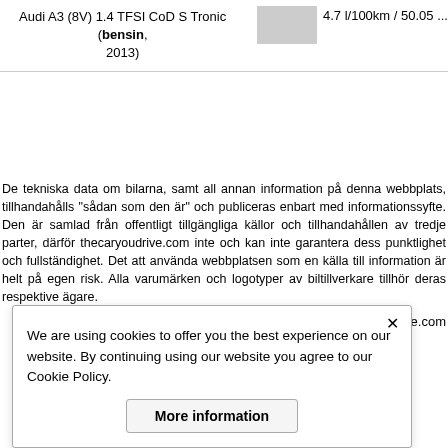| Car | Image | Fuel info |
| --- | --- | --- |
| Audi A3 (8V) 1.4 TFSI CoD S Tronic (bensin, 2013) | [image] | 4.7 l/100km / 50.05 ... |
De tekniska data om bilarna, samt all annan information på denna webbplats, tillhandahålls "sådan som den är" och publiceras enbart med informationssyfte. Den är samlad från offentligt tillgängliga källor och tillhandahållen av tredje parter, därför thecaryoudrive.com inte och kan inte garantera dess punktlighet och fullständighet. Det att använda webbplatsen som en källa till information är helt på egen risk. Alla varumärken och logotyper av biltillverkare tillhör deras respektive ägare.
cookie policy © thecaryoudrive.com
We are using cookies to offer you the best experience on our website. By continuing using our website you agree to our Cookie Policy.
More information